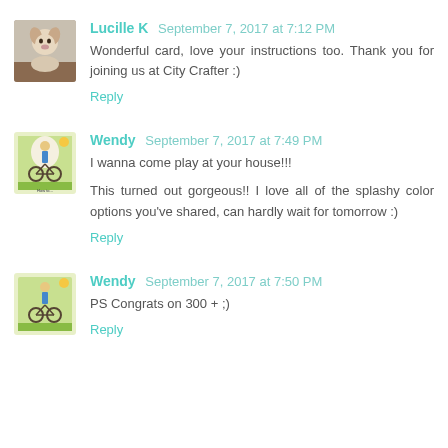Lucille K  September 7, 2017 at 7:12 PM
Wonderful card, love your instructions too. Thank you for joining us at City Crafter :)
Reply
Wendy  September 7, 2017 at 7:49 PM
I wanna come play at your house!!!
This turned out gorgeous!! I love all of the splashy color options you've shared, can hardly wait for tomorrow :)
Reply
Wendy  September 7, 2017 at 7:50 PM
PS Congrats on 300 + ;)
Reply